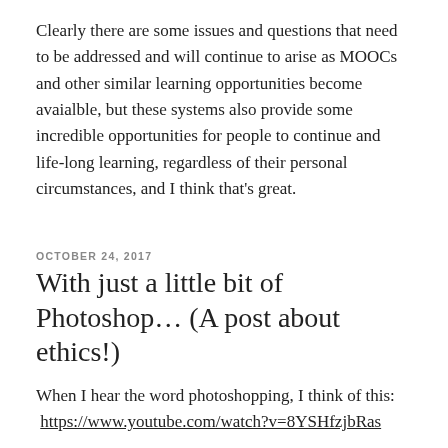Clearly there are some issues and questions that need to be addressed and will continue to arise as MOOCs and other similar learning opportunities become avaialble, but these systems also provide some incredible opportunities for people to continue and life-long learning, regardless of their personal circumstances, and I think that's great.
OCTOBER 24, 2017
With just a little bit of Photoshop… (A post about ethics!)
When I hear the word photoshopping, I think of this: https://www.youtube.com/watch?v=8YSHfzjbRas